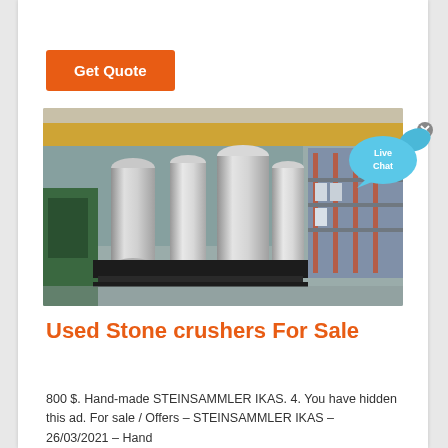Get Quote
[Figure (photo): Industrial factory floor showing multiple large cylindrical stone crusher components made of shiny metal, arranged on black metal frames in a large warehouse with orange overhead cranes and industrial shelving in the background.]
[Figure (other): Live Chat speech bubble widget — blue speech bubble with 'Live Chat' text in white and a small fish icon, with an X close button.]
Used Stone crushers For Sale
800 $. Hand-made STEINSAMMLER IKAS. 4. You have hidden this ad. For sale / Offers – STEINSAMMLER IKAS – 26/03/2021 – Hand